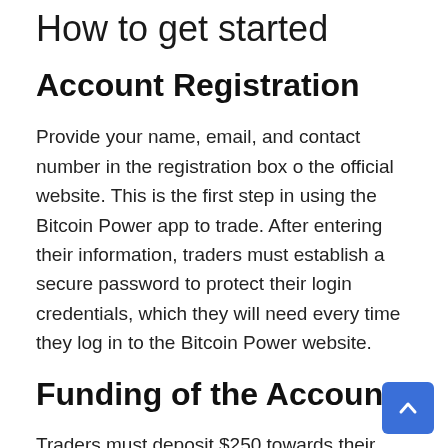How to get started
Account Registration
Provide your name, email, and contact number in the registration box o the official website. This is the first step in using the Bitcoin Power app to trade. After entering their information, traders must establish a secure password to protect their login credentials, which they will need every time they log in to the Bitcoin Power website.
Funding of the Account
Traders must deposit $250 towards their operating capital in their Bitcoin Power account